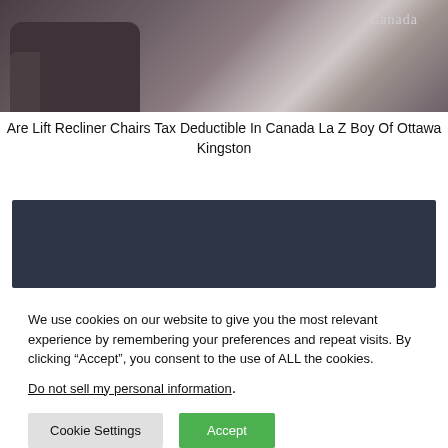[Figure (photo): Photo of a dark leather/grey recliner chair in a room setting with a rug visible. The word 'Canada' appears in the upper right of the image.]
Are Lift Recliner Chairs Tax Deductible In Canada La Z Boy Of Ottawa Kingston
[Figure (photo): Dark navy/blue-grey rectangular image block, appears to be a partially loaded or dark image section.]
We use cookies on our website to give you the most relevant experience by remembering your preferences and repeat visits. By clicking “Accept”, you consent to the use of ALL the cookies.
Do not sell my personal information.
Cookie Settings  Accept